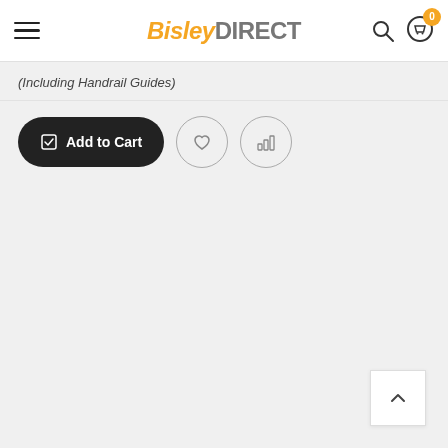BisleyDIRECT
(Including Handrail Guides)
[Figure (screenshot): Add to Cart button (black pill-shaped), a heart/wishlist circle icon button, and a bar chart/compare circle icon button]
[Figure (other): Back to top chevron button in bottom right corner]